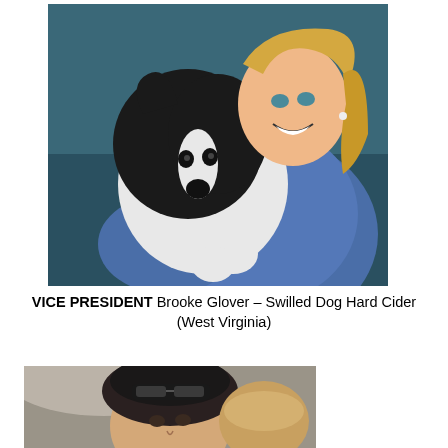[Figure (photo): A smiling woman with blonde hair holding a black and white border collie dog, wearing a denim shirt.]
VICE PRESIDENT Brooke Glover – Swilled Dog Hard Cider (West Virginia)
[Figure (photo): A person with dark hair and sunglasses on their head, partially visible, selfie-style photo.]